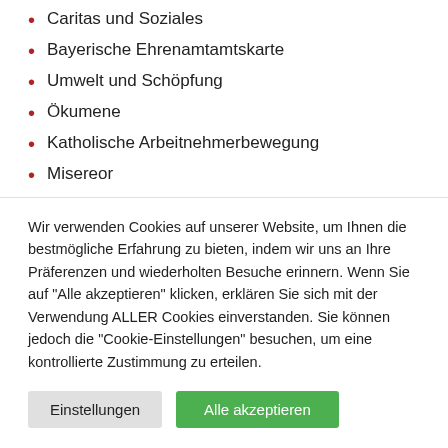Caritas und Soziales
Bayerische Ehrenamtamtskarte
Umwelt und Schöpfung
Ökumene
Katholische Arbeitnehmerbewegung
Misereor
Wegmarken
125 Jahre Eigenständigkeit
Wir verwenden Cookies auf unserer Website, um Ihnen die bestmögliche Erfahrung zu bieten, indem wir uns an Ihre Präferenzen und wiederholten Besuche erinnern. Wenn Sie auf "Alle akzeptieren" klicken, erklären Sie sich mit der Verwendung ALLER Cookies einverstanden. Sie können jedoch die "Cookie-Einstellungen" besuchen, um eine kontrollierte Zustimmung zu erteilen.
Einstellungen
Alle akzeptieren